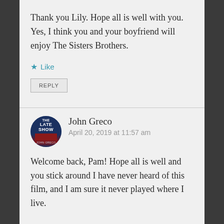Thank you Lily. Hope all is well with you. Yes, I think you and your boyfriend will enjoy The Sisters Brothers.
Like
REPLY
John Greco
April 20, 2019 at 11:57 am
Welcome back, Pam! Hope all is well and you stick around I have never heard of this film, and I am sure it never played where I live.